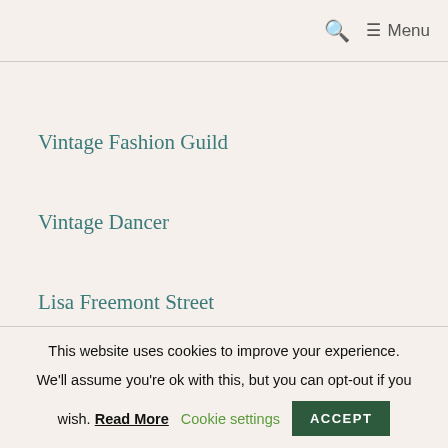Menu
Vintage Fashion Guild
Vintage Dancer
Lisa Freemont Street
Top Vintage Blogs
[Figure (logo): Red and dark red W logo mark]
This website uses cookies to improve your experience. We'll assume you're ok with this, but you can opt-out if you wish. Read More Cookie settings ACCEPT